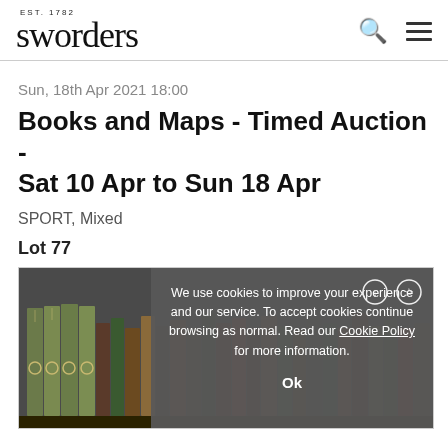sworders EST. 1782
Sun, 18th Apr 2021 18:00
Books and Maps - Timed Auction - Sat 10 Apr to Sun 18 Apr
SPORT, Mixed
Lot 77
[Figure (photo): A row of old books with coloured spines on a shelf, partially obscured by a cookie consent overlay. The books include several green-spined volumes on the left and various other coloured spines.]
We use cookies to improve your experience and our service. To accept cookies continue browsing as normal. Read our Cookie Policy for more information.
Ok